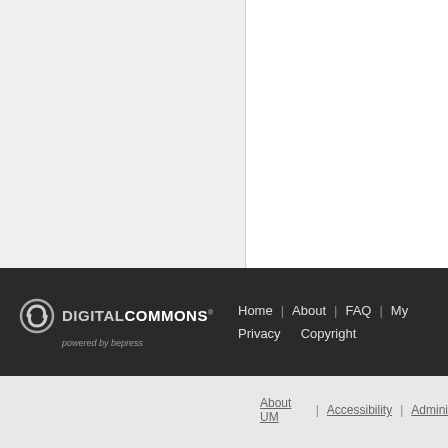[Figure (screenshot): Two-column layout area: left column with light gray background, right column with white background, separated by a vertical line.]
DIGITAL COMMONS powered by bepress | Home | About | FAQ | My | Privacy | Copyright
About UM | Accessibility | Admini